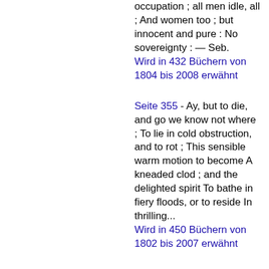occupation ; all men idle, all ; And women too ; but innocent and pure : No sovereignty : — Seb.
Wird in 432 Büchern von 1804 bis 2008 erwähnt
Seite 355 - Ay, but to die, and go we know not where ; To lie in cold obstruction, and to rot ; This sensible warm motion to become A kneaded clod ; and the delighted spirit To bathe in fiery floods, or to reside In thrilling...
Wird in 450 Büchern von 1802 bis 2007 erwähnt
Seite 15 - With eyes severe and beard of formal cut, Full of wise